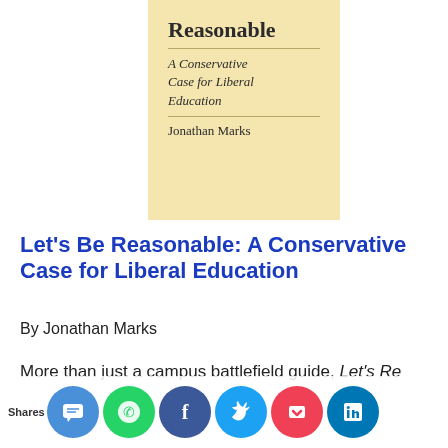[Figure (illustration): Book cover of 'Let's Be Reasonable: A Conservative Case for Liberal Education' by Jonathan Marks, with a pale yellow background, the partial title 'Reasonable', a subtitle 'A Conservative Case for Liberal Education', and the author name 'Jonathan Marks'.]
Let's Be Reasonable: A Conservative Case for Liberal Education
By Jonathan Marks
More than just a campus battlefield guide, Let's Reasonable move at deeply liberal out ral e tion me a y to son